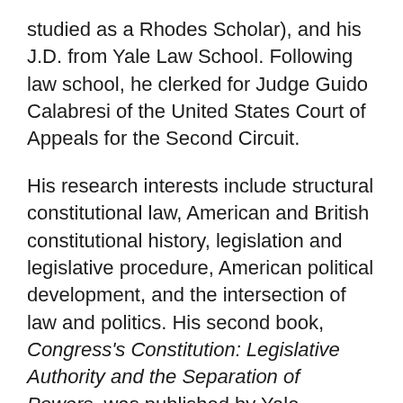studied as a Rhodes Scholar), and his J.D. from Yale Law School. Following law school, he clerked for Judge Guido Calabresi of the United States Court of Appeals for the Second Circuit.
His research interests include structural constitutional law, American and British constitutional history, legislation and legislative procedure, American political development, and the intersection of law and politics. His second book, Congress's Constitution: Legislative Authority and the Separation of Powers, was published by Yale University Press in 2017. He is also the author of Democracy's Privileged Few: Legislative Privilege and Democratic Norms in the British and American Constitutions (Yale University Press, 2007) and is a co-editor (along with William N. Eskridge, Jr., Elizabeth Garrett, and James